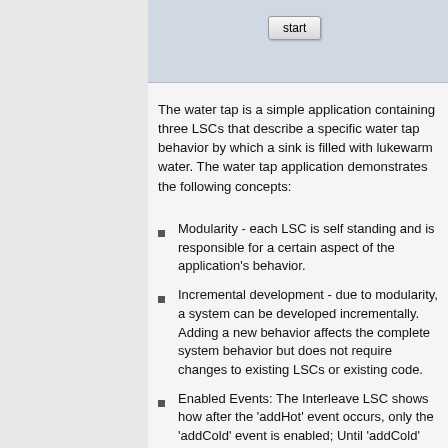[Figure (screenshot): Screenshot showing a GUI with a 'start' button on a light blue/grey background panel]
The water tap is a simple application containing three LSCs that describe a specific water tap behavior by which a sink is filled with lukewarm water. The water tap application demonstrates the following concepts:
Modularity - each LSC is self standing and is responsible for a certain aspect of the application's behavior.
Incremental development - due to modularity, a system can be developed incrementally. Adding a new behavior affects the complete system behavior but does not require changes to existing LSCs or existing code.
Enabled Events: The Interleave LSC shows how after the 'addHot' event occurs, only the 'addCold' event is enabled; Until 'addCold' occurs, 'addHot' is not allowed to occur, thus will wait for its turn.